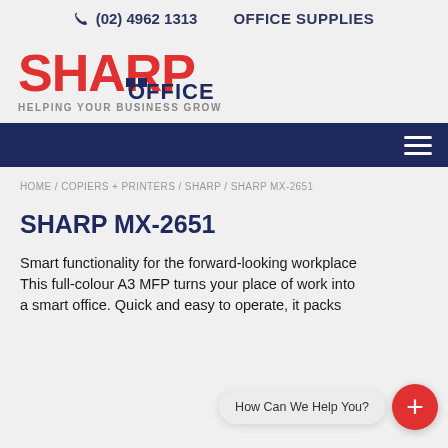(02) 4962 1313   OFFICE SUPPLIES
[Figure (logo): Sharp Office logo with text HELPING YOUR BUSINESS GROW]
[Figure (other): Dark navy navigation bar with hamburger menu icon]
HOME / COPIERS + PRINTERS / SHARP / SHARP MX-2651
SHARP MX-2651
Smart functionality for the forward-looking workplace. This full-colour A3 MFP turns your place of work into a smart office. Quick and easy to operate, it packs